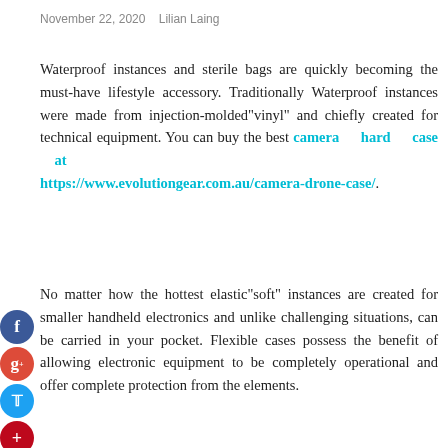November 22, 2020   Lilian Laing
Waterproof instances and sterile bags are quickly becoming the must-have lifestyle accessory. Traditionally Waterproof instances were made from injection-molded"vinyl" and chiefly created for technical equipment. You can buy the best camera hard case at https://www.evolutiongear.com.au/camera-drone-case/.
No matter how the hottest elastic"soft" instances are created for smaller handheld electronics and unlike challenging situations, can be carried in your pocket. Flexible cases possess the benefit of allowing electronic equipment to be completely operational and offer complete protection from the elements.